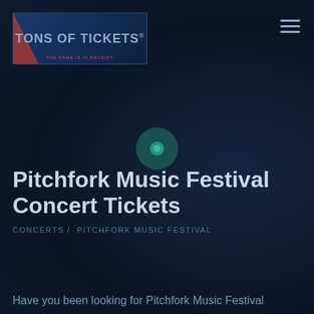[Figure (logo): Tons of Tickets logo — dark blue rectangular box with red chevron on left, bold text 'TONS OF TICKETS' with registered trademark symbol, red tagline below]
[Figure (other): Hamburger menu icon — three horizontal lines in top-right corner]
[Figure (other): Teal circular icon with concentric circle design, appears to be a music/play symbol]
Pitchfork Music Festival Concert Tickets
CONCERTS /  PITCHFORK MUSIC FESTIVAL
Have you been looking for Pitchfork Music Festival